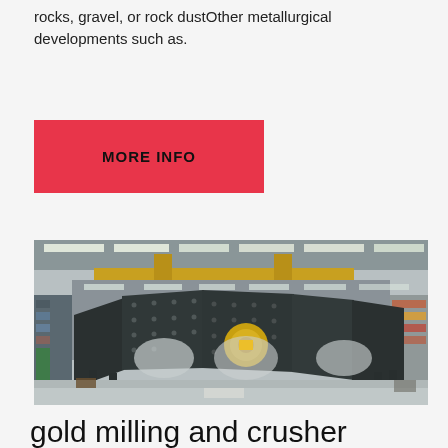rocks, gravel, or rock dustOther metallurgical developments such as.
MORE INFO
[Figure (photo): Large industrial vibrating screen / sieve machine inside a factory warehouse with yellow overhead crane, dark grey steel frame with bolted panels, yellow circular motor unit at center, factory floor with shelving visible in background.]
gold milling and crusher
small mobile gold washing machine crusher machine